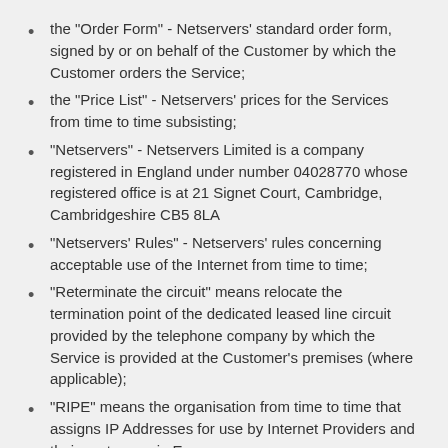the "Order Form" - Netservers' standard order form, signed by or on behalf of the Customer by which the Customer orders the Service;
the "Price List" - Netservers' prices for the Services from time to time subsisting;
"Netservers" - Netservers Limited is a company registered in England under number 04028770 whose registered office is at 21 Signet Court, Cambridge, Cambridgeshire CB5 8LA
"Netservers' Rules" - Netservers' rules concerning acceptable use of the Internet from time to time;
"Reterminate the circuit" means relocate the termination point of the dedicated leased line circuit provided by the telephone company by which the Service is provided at the Customer's premises (where applicable);
"RIPE" means the organisation from time to time that assigns IP Addresses for use by Internet Providers and their customers in Europe.
the "Service" - Netservers' services.
the "Start Date" - means the day on which packets of data